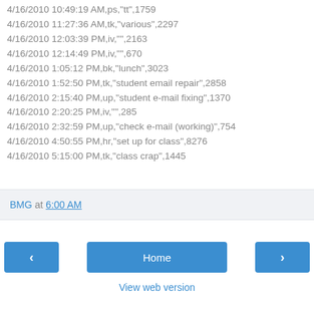4/16/2010 10:49:19 AM,ps,"tt",1759
4/16/2010 11:27:36 AM,tk,"various",2297
4/16/2010 12:03:39 PM,iv,"",2163
4/16/2010 12:14:49 PM,iv,"",670
4/16/2010 1:05:12 PM,bk,"lunch",3023
4/16/2010 1:52:50 PM,tk,"student email repair",2858
4/16/2010 2:15:40 PM,up,"student e-mail fixing",1370
4/16/2010 2:20:25 PM,iv,"",285
4/16/2010 2:32:59 PM,up,"check e-mail (working)",754
4/16/2010 4:50:55 PM,hr,"set up for class",8276
4/16/2010 5:15:00 PM,tk,"class crap",1445
BMG at 6:00 AM
Home
View web version